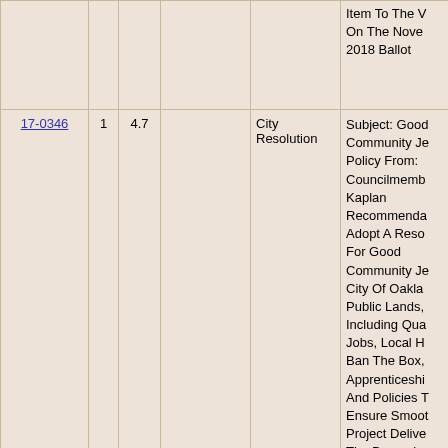|  |  |  |  |  |  |
| --- | --- | --- | --- | --- | --- |
|  |  |  |  |  | Item To The V... On The Nove... 2018 Ballot |
| 17-0346 | 1 | 4.7 |  | City Resolution | Subject: Good Community J... Policy From: Councilmemb... Kaplan Recommenda... Adopt A Reso... For Good Community J... City Of Oakla... Public Lands, Including Qua... Jobs, Local H... Ban The Box, Apprenticeshi... And Policies T... Ensure Smoot... Project Delive... The December 2017 Commu... And Economi... Development Committee Ap... |
| 17-0429 | 1 |  | Permanent | Informational | Subject: Perm... |